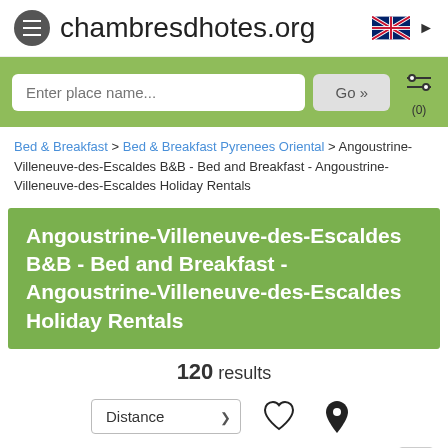chambresdhotes.org
[Figure (screenshot): Search bar with 'Enter place name...' placeholder and 'Go »' button on green background]
Bed & Breakfast > Bed & Breakfast Pyrenees Oriental > Angoustrine-Villeneuve-des-Escaldes B&B - Bed and Breakfast - Angoustrine-Villeneuve-des-Escaldes Holiday Rentals
Angoustrine-Villeneuve-des-Escaldes B&B - Bed and Breakfast - Angoustrine-Villeneuve-des-Escaldes Holiday Rentals
120 results
[Figure (screenshot): Distance sort dropdown, heart icon, and map pin icon]
[Figure (screenshot): Pagination with page 1 active (green) and page 2]
[Figure (screenshot): Listing strip with email, camera, phone, location, and heart icons with property image]